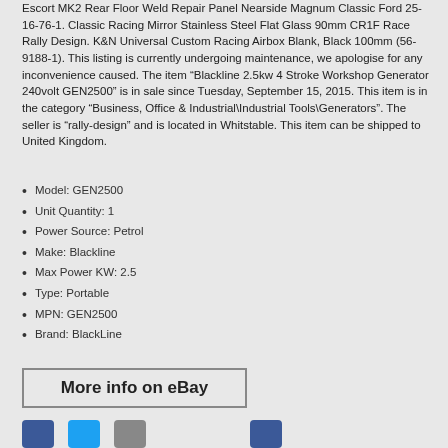Escort MK2 Rear Floor Weld Repair Panel Nearside Magnum Classic Ford 25-16-76-1. Classic Racing Mirror Stainless Steel Flat Glass 90mm CR1F Race Rally Design. K&N Universal Custom Racing Airbox Blank, Black 100mm (56-9188-1). This listing is currently undergoing maintenance, we apologise for any inconvenience caused. The item “Blackline 2.5kw 4 Stroke Workshop Generator 240volt GEN2500” is in sale since Tuesday, September 15, 2015. This item is in the category “Business, Office & Industrial\Industrial Tools\Generators”. The seller is “rally-design” and is located in Whitstable. This item can be shipped to United Kingdom.
Model: GEN2500
Unit Quantity: 1
Power Source: Petrol
Make: Blackline
Max Power KW: 2.5
Type: Portable
MPN: GEN2500
Brand: BlackLine
More info on eBay